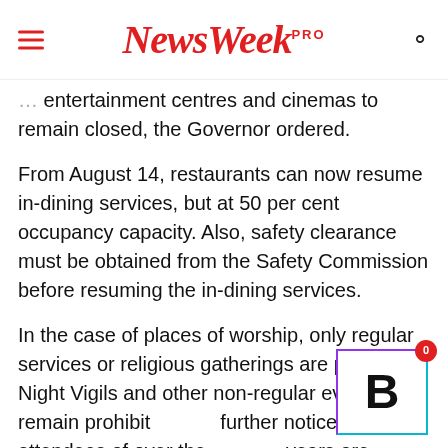NewsWeek PRO
entertainment centres and cinemas to remain closed, the Governor ordered.
From August 14, restaurants can now resume in-dining services, but at 50 per cent occupancy capacity. Also, safety clearance must be obtained from the Safety Commission before resuming the in-dining services.
In the case of places of worship, only regular services or religious gatherings are permitted. Night Vigils and other non-regular events remain prohibited until further notice. Also, attendees of over the years are strongly discouraged from attending worship centres, the Governor said, adding that all worship centres must adhere to face mask guideline.